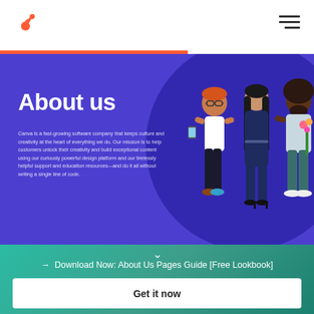HubSpot logo and navigation menu
About us
Canva is a fast-growing software company that keeps culture and creativity at the heart of everything we do. Our mission is to help customers unlock their creativity and build exceptional content using our curiously powerful design platform and our tirelessly helpful support and education resources—and do it all without writing a single line of code.
[Figure (illustration): Three illustrated characters standing together: a man with glasses and tattoos holding a phone, a woman in a dark jumpsuit with long black hair, and a man with a beard holding flowers, set against a dark circular background]
→  Download Now: About Us Pages Guide [Free Lookbook]
Get it now